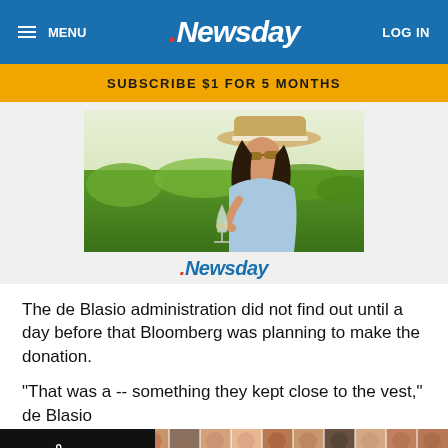MENU | Newsday | LOG IN
SUBSCRIBE $1 FOR 5 MONTHS
[Figure (photo): Woman in a straw hat smelling/tasting white wine in a vineyard setting]
[Figure (logo): Newsday logo watermark]
The de Blasio administration did not find out until a day before that Bloomberg was planning to make the donation.
"That was a -- something they kept close to the vest," de Blasio
[Figure (infographic): Faces of Long Island advertisement with grid of portrait photos and logo]